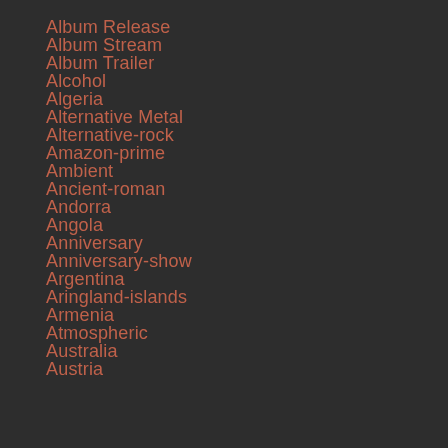Album Release
Album Stream
Album Trailer
Alcohol
Algeria
Alternative Metal
Alternative-rock
Amazon-prime
Ambient
Ancient-roman
Andorra
Angola
Anniversary
Anniversary-show
Argentina
Aringland-islands
Armenia
Atmospheric
Australia
Austria